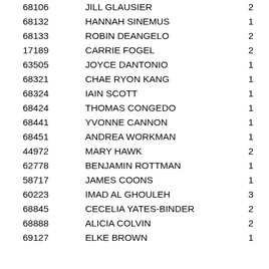| ID | Name | Col3 | Col4 |
| --- | --- | --- | --- |
| 68106 | JILL GLAUSIER | 2 | 19 |
| 68132 | HANNAH SINEMUS | 1 | 20 |
| 68133 | ROBIN DEANGELO | 2 | 21 |
| 17189 | CARRIE FOGEL | 2 | 22 |
| 63505 | JOYCE DANTONIO | 1 | 23 |
| 68321 | CHAE RYON KANG | 1 | 24 |
| 68324 | IAIN SCOTT | 1 | 25 |
| 68424 | THOMAS CONGEDO | 1 | 26 |
| 68441 | YVONNE CANNON | 1 | 27 |
| 68451 | ANDREA WORKMAN | 1 | 28 |
| 44972 | MARY HAWK | 2 | 29 |
| 62778 | BENJAMIN ROTTMAN | 1 | 30 |
| 58717 | JAMES COONS | 1 | 31 |
| 60223 | IMAD AL GHOULEH | 3 | 32 |
| 68845 | CECELIA YATES-BINDER | 2 | 33 |
| 68888 | ALICIA COLVIN | 2 | 34 |
| 69127 | ELKE BROWN | 1 | 35 |